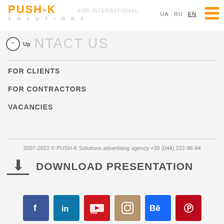PUSH-K SOLUTIONS — UA RU EN
CONTACT US
FOR CLIENTS
FOR CONTRACTORS
VACANCIES
2007-2022 © PUSH-K Solutions advertising agency +38 (044) 222-86-94
DOWNLOAD PRESENTATION
[Figure (other): Social media icons: Facebook, LinkedIn, YouTube, Instagram, Behance, Pinterest]